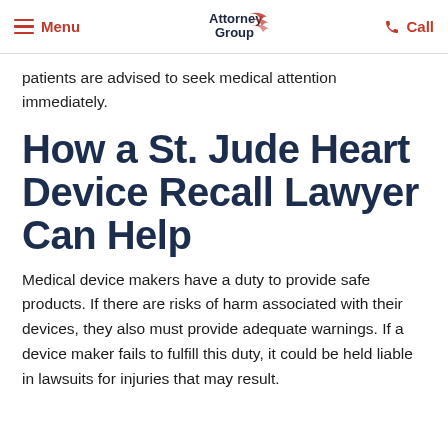Menu | Attorney Group | Call
patients are advised to seek medical attention immediately.
How a St. Jude Heart Device Recall Lawyer Can Help
Medical device makers have a duty to provide safe products. If there are risks of harm associated with their devices, they also must provide adequate warnings. If a device maker fails to fulfill this duty, it could be held liable in lawsuits for injuries that may result.